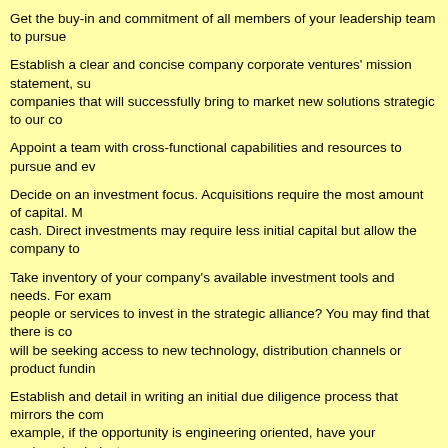Get the buy-in and commitment of all members of your leadership team to pursue...
Establish a clear and concise company corporate ventures' mission statement, s... companies that will successfully bring to market new solutions strategic to our co...
Appoint a team with cross-functional capabilities and resources to pursue and ev...
Decide on an investment focus. Acquisitions require the most amount of capital. M... cash. Direct investments may require less initial capital but allow the company to...
Take inventory of your company's available investment tools and needs. For exam... people or services to invest in the strategic alliance? You may find that there is co... will be seeking access to new technology, distribution channels or product fundin...
Establish and detail in writing an initial due diligence process that mirrors the com... example, if the opportunity is engineering oriented, have your engineering industr... benefits. Will it result in an expansion to the technology base? Will it give you acc... emerging market?
Establish your due diligence team and provide them with the necessary resource...
Establish a review process for all corporate venturing activities and evaluate qua...
Conclusion
Whether you are an emerging growth company seeking the alliance of a larger co... to new technologies under development by smaller companies, corporate venturi... growth. Through corporate venturing your technical team, sales and distribution o... access to capital may be expanded significantly thereby positioning your compan...